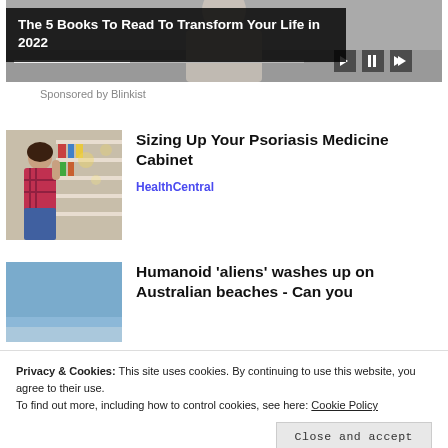[Figure (screenshot): Video thumbnail showing a person, with scrubber bar and playback controls]
The 5 Books To Read To Transform Your Life in 2022
Sponsored by Blinkist
[Figure (photo): A woman browsing products in a pharmacy/store aisle]
Sizing Up Your Psoriasis Medicine Cabinet
HealthCentral
[Figure (photo): Blue sky / beach background image]
Humanoid 'aliens' washes up on Australian beaches - Can you
Privacy & Cookies: This site uses cookies. By continuing to use this website, you agree to their use.
To find out more, including how to control cookies, see here: Cookie Policy
Close and accept